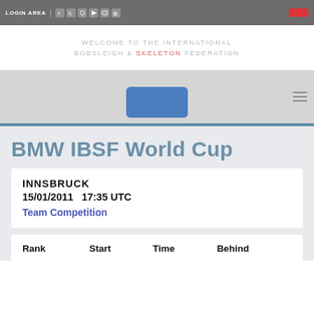LOGIN AREA
WELCOME TO THE INTERNATIONAL BOBSLEIGH & SKELETON FEDERATION
BMW IBSF World Cup
INNSBRUCK
15/01/2011   17:35 UTC
Team Competition
| Rank | Start | Time | Behind |
| --- | --- | --- | --- |